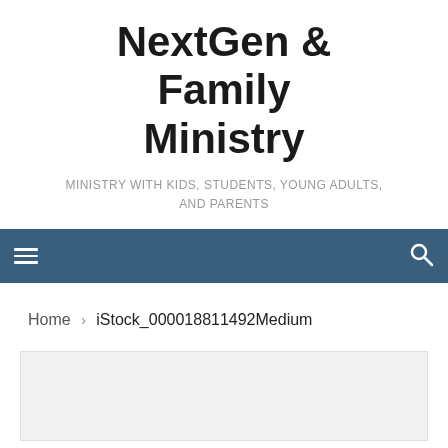NextGen & Family Ministry
MINISTRY WITH KIDS, STUDENTS, YOUNG ADULTS, AND PARENTS
Navigation bar with menu and search icons
Home › iStock_000018811492Medium
[Figure (other): White rectangular image placeholder area]